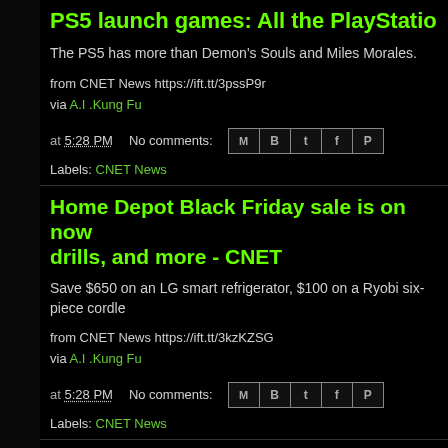PS5 launch games: All the PlayStation 5
The PS5 has more than Demon's Souls and Miles Morales.
from CNET News https://ift.tt/3pssP9r
via A.I .Kung Fu
at 5:28 PM   No comments:
Labels: CNET News
Home Depot Black Friday sale is on now drills, and more - CNET
Save $650 on an LG smart refrigerator, $100 on a Ryobi six-piece cordle
from CNET News https://ift.tt/3kzKZSG
via A.I .Kung Fu
at 5:28 PM   No comments:
Labels: CNET News